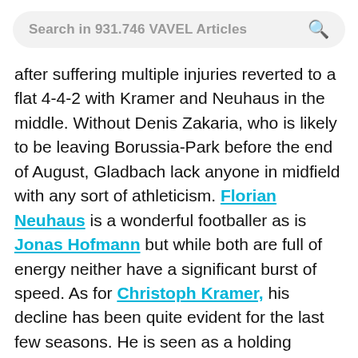Search in 931.746 VAVEL Articles
after suffering multiple injuries reverted to a flat 4-4-2 with Kramer and Neuhaus in the middle. Without Denis Zakaria, who is likely to be leaving Borussia-Park before the end of August, Gladbach lack anyone in midfield with any sort of athleticism. Florian Neuhaus is a wonderful footballer as is Jonas Hofmann but while both are full of energy neither have a significant burst of speed. As for Christoph Kramer, his decline has been quite evident for the last few seasons. He is seen as a holding midfielder but on Saturday he offered very little protection for the defence and his distribution was extremely poor. Kouadio Kone could be the eventual